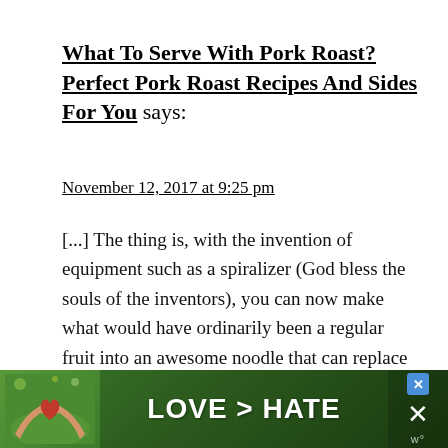What To Serve With Pork Roast? Perfect Pork Roast Recipes And Sides For You says:
November 12, 2017 at 9:25 pm
[...] The thing is, with the invention of equipment such as a spiralizer (God bless the souls of the inventors), you can now make what would have ordinarily been a regular fruit into an awesome noodle that can replace whatever starchy pasta you would rather not have, and that's the case with this recipe by Simple Seasonal. [...]
[Figure (other): Advertisement banner with green nature background showing two hands forming a heart shape, text 'LOVE > HATE' in white bold letters, and a close button]